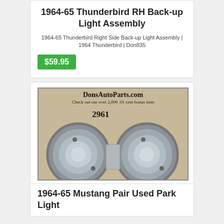1964-65 Thunderbird RH Back-up Light Assembly
1964-65 Thunderbird Right Side Back-up Light Assembly | 1964 Thunderbird | Don835
$59.95
[Figure (photo): Photo of two round used park light assemblies with chrome bezels and clear glass lenses, with DonsAutoParts.com watermark and item number 2961]
1964-65 Mustang Pair Used Park Light